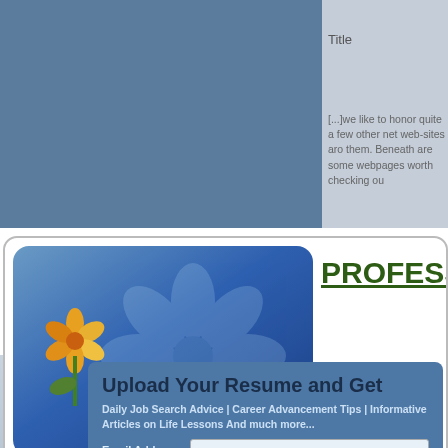Title
[...]we like to honor quite a few other net web-sites around them. Beneath are some webpages worth checking ou
[Figure (logo): Website logo card with blue gradient icon featuring flower decoration and site title 'PROFESSIONAL ADVI...' in dark green underlined text]
Upload Your Resume and Get
Daily Job Search Advice | Career Advancement Tips | Informative Articles on Life Lessons And much more...
Email Address
Upload Resume
Choose File  No file chosen